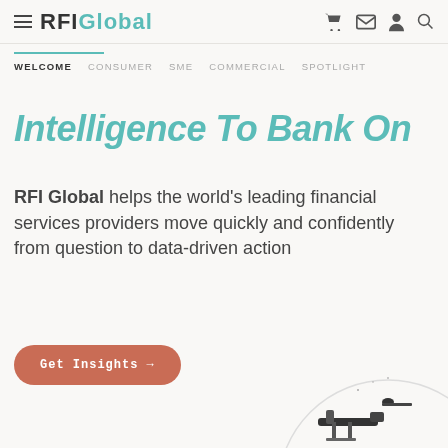RFI Global
WELCOME   CONSUMER   SME   COMMERCIAL   SPOTLIGHT
Intelligence To Bank On
RFI Global helps the world's leading financial services providers move quickly and confidently from question to data-driven action
Get Insights →
[Figure (illustration): Partial circular illustration featuring a telescope/cannon instrument at bottom right of page]